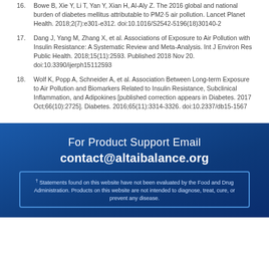16. Bowe B, Xie Y, Li T, Yan Y, Xian H, Al-Aly Z. The 2016 global and national burden of diabetes mellitus attributable to PM2·5 air pollution. Lancet Planet Health. 2018;2(7):e301-e312. doi:10.1016/S2542-5196(18)30140-2
17. Dang J, Yang M, Zhang X, et al. Associations of Exposure to Air Pollution with Insulin Resistance: A Systematic Review and Meta-Analysis. Int J Environ Res Public Health. 2018;15(11):2593. Published 2018 Nov 20. doi:10.3390/ijerph15112593
18. Wolf K, Popp A, Schneider A, et al. Association Between Long-term Exposure to Air Pollution and Biomarkers Related to Insulin Resistance, Subclinical Inflammation, and Adipokines [published correction appears in Diabetes. 2017 Oct;66(10):2725]. Diabetes. 2016;65(11):3314-3326. doi:10.2337/db15-1567
For Product Support Email contact@altaibalance.org
† Statements found on this website have not been evaluated by the Food and Drug Administration. Products on this website are not intended to diagnose, treat, cure, or prevent any disease.